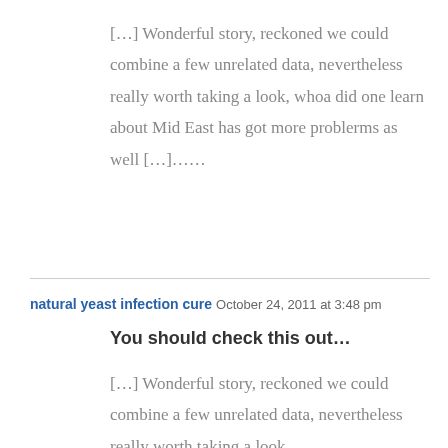[…] Wonderful story, reckoned we could combine a few unrelated data, nevertheless really worth taking a look, whoa did one learn about Mid East has got more problerms as well […]……
natural yeast infection cure   October 24, 2011 at 3:48 pm
You should check this out…
[…] Wonderful story, reckoned we could combine a few unrelated data, nevertheless really worth taking a look,